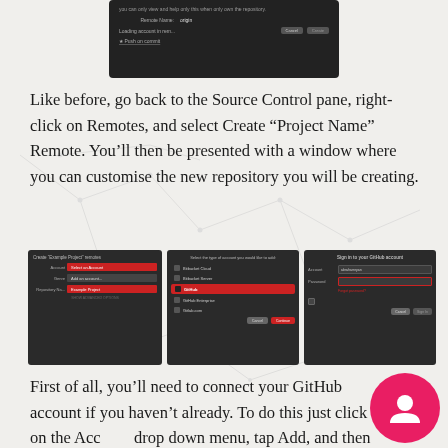[Figure (screenshot): Dark UI dialog showing Remote Name: origin field with Cancel and Create buttons, and a 'Loading account in rem...' status and partial text at bottom]
Like before, go back to the Source Control pane, right-click on Remotes, and select Create “Project Name” Remote. You’ll then be presented with a window where you can customise the new repository you will be creating.
[Figure (screenshot): Three side-by-side dark UI screenshots showing: 1) Create 'Example Project' remotes dialog with Account, Genre, Repository Name fields; 2) Account type selector with Bitbucket Cloud, Bitbucket Server, GitHub (selected/highlighted), GitHub Enterprise, Gitlab.com options and Cancel/Continue buttons; 3) Sign in to your GitHub account dialog with Account and Password fields]
First of all, you’ll need to connect your GitHub account if you haven’t already. To do this just click on the Account drop down menu, tap Add, and then enter your GitHub credentials.